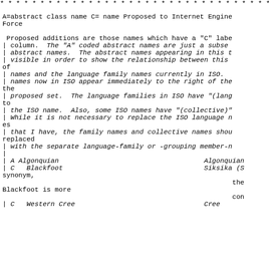* * * * * * * * * * * * * * * * * * * * * * * * * * * * * * * * * * * * * * * * * *
A=abstract class name C= name Proposed to Internet Engine
Force
Proposed additions are those names which have a "C" labe
| column.  The "A" coded abstract names are just a subse
| abstract names.  The abstract names appearing in this 
| visible in order to show the relationship between this 
of
| names and the language family names currently in ISO.
| names now in ISO appear immediately to the right of the
the
| proposed set.  The language families in ISO have "(lang
to
| the ISO name.  Also, some ISO names have "(collective)"
| While it is not necessary to replace the ISO language n
es
| that I have, the family names and collective names shou
replaced
| with the separate language-family or -grouping member-n
|
| A Algonquian                                    Algonquian
| C   Blackfoot                                   Siksika (S
synonym,
                                                         the
Blackfoot is more
                                                         con
| C   Western Cree                                Cree